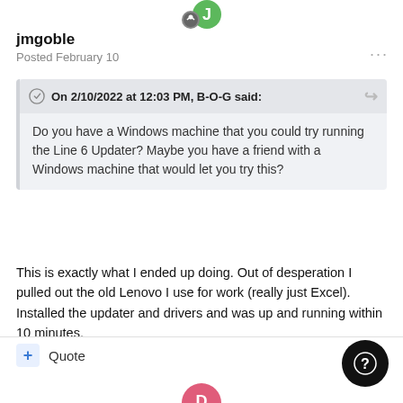[Figure (illustration): User avatar (green circle with letter J and a badge icon) at the top center]
jmgoble
Posted February 10
On 2/10/2022 at 12:03 PM, B-O-G said:
Do you have a Windows machine that you could try running the Line 6 Updater? Maybe you have a friend with a Windows machine that would let you try this?
This is exactly what I ended up doing. Out of desperation I pulled out the old Lenovo I use for work (really just Excel). Installed the updater and drivers and was up and running within 10 minutes.
+ Quote
[Figure (illustration): Pink circle avatar at the bottom center (partial, cropped)]